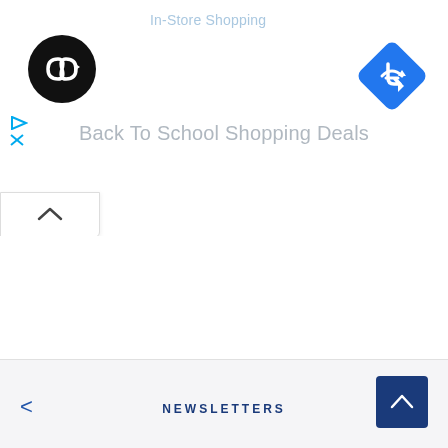In-Store Shopping
[Figure (logo): Black circle logo with infinity/loop arrow symbol in white]
[Figure (other): Blue diamond navigation/directions icon with white right-turn arrow]
Back To School Shopping Deals
[Figure (other): Collapse/chevron up button]
NEWSLETTERS